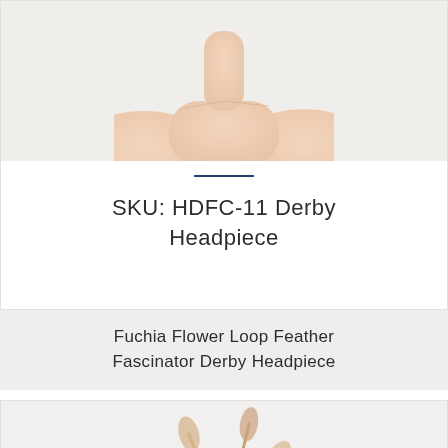[Figure (photo): Close-up photo of a model's bare shoulders and neck against white background, cropped at chin level]
SKU: HDFC-11 Derby Headpiece
Fuchia Flower Loop Feather Fascinator Derby Headpiece
[Figure (photo): Photo of a feathered fascinator headpiece in nude/blush tones with flowing feathers and floral elements, displayed against white background]